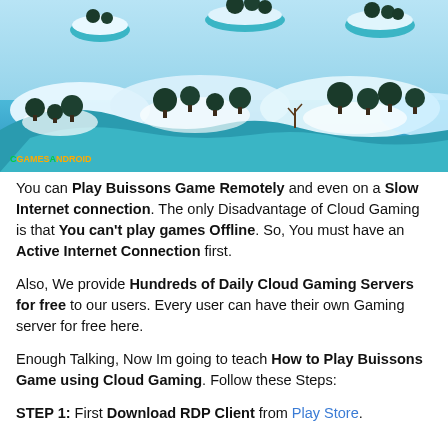[Figure (screenshot): Screenshot of a colorful low-poly cloud gaming landscape with trees, icy terrain, and blue skies. A watermark 'CGAMESANDROID' appears in the bottom-left corner.]
You can Play Buissons Game Remotely and even on a Slow Internet connection. The only Disadvantage of Cloud Gaming is that You can't play games Offline. So, You must have an Active Internet Connection first.
Also, We provide Hundreds of Daily Cloud Gaming Servers for free to our users. Every user can have their own Gaming server for free here.
Enough Talking, Now Im going to teach How to Play Buissons Game using Cloud Gaming. Follow these Steps:
STEP 1: First Download RDP Client from Play Store.